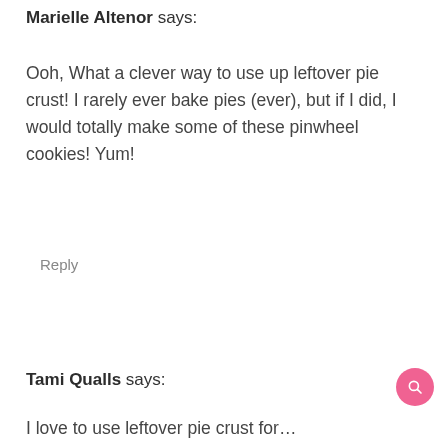Marielle Altenor says:
Ooh, What a clever way to use up leftover pie crust! I rarely ever bake pies (ever), but if I did, I would totally make some of these pinwheel cookies! Yum!
Reply
Tami Qualls says: